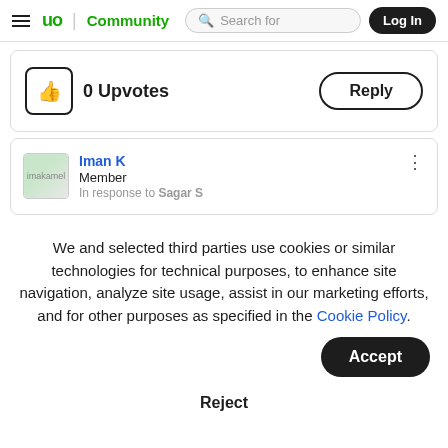up Community | Search for | Log In
[Figure (screenshot): Upvote button with thumbs up icon showing 0 Upvotes and a Reply button]
[Figure (screenshot): Comment card showing user Iman K, Member, In response to Sagar S, with avatar and more options button]
We and selected third parties use cookies or similar technologies for technical purposes, to enhance site navigation, analyze site usage, assist in our marketing efforts, and for other purposes as specified in the Cookie Policy.
Accept
Reject